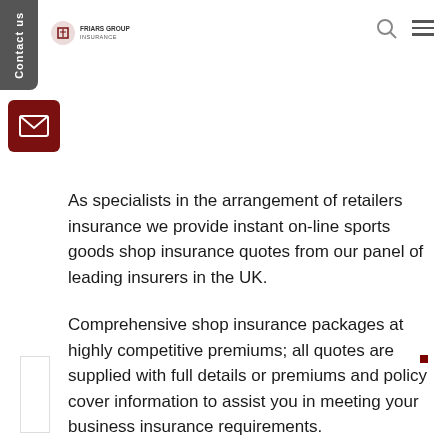Friars Group Insurance
As specialists in the arrangement of retailers insurance we provide instant on-line sports goods shop insurance quotes from our panel of leading insurers in the UK.
Comprehensive shop insurance packages at highly competitive premiums; all quotes are supplied with full details or premiums and policy cover information to assist you in meeting your business insurance requirements.